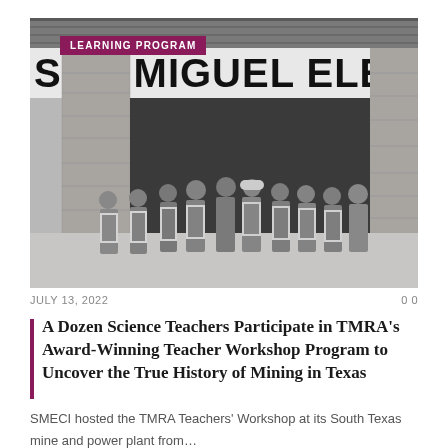[Figure (photo): Black and white photograph of a group of approximately a dozen people wearing safety vests standing in front of the San Miguel Electric Cooperative building. A tag overlay reads 'LEARNING PROGRAM'.]
JULY 13, 2022    0 0
A Dozen Science Teachers Participate in TMRA’s Award-Winning Teacher Workshop Program to Uncover the True History of Mining in Texas
SMECI hosted the TMRA Teachers’ Workshop at its South Texas mine and power plant from…